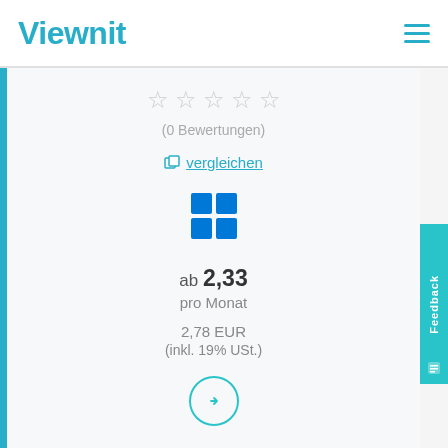Viewnit
☆ ☆ ☆ ☆ ☆
(0 Bewertungen)
vergleichen
[Figure (logo): Windows logo (four blue squares)]
ab 2,33
pro Monat
2,78 EUR
(inkl. 19% USt.)
[Figure (other): Arrow button circle with right arrow]